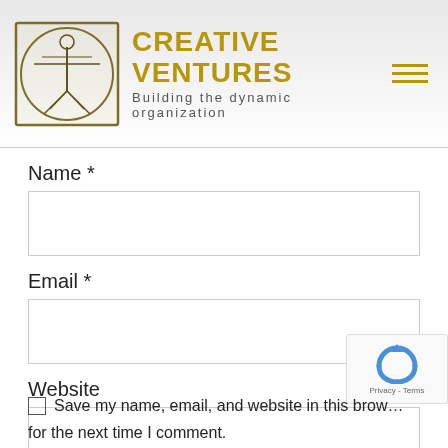[Figure (logo): Creative Ventures logo with Vitruvian Man figure in square-circle frame, brand name 'Creative Ventures' in gold uppercase, tagline 'Building the dynamic organization', and hamburger menu icon in gold]
Name *
Email *
Website
Save my name, email, and website in this browser for the next time I comment.